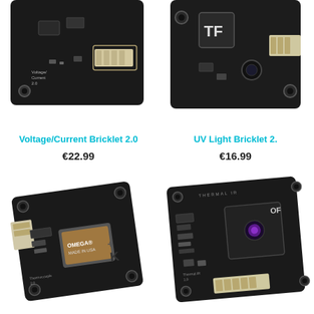[Figure (photo): Voltage/Current Bricklet 2.0 circuit board photo, top-left, cropped showing connector and components]
Voltage/Current Bricklet 2.0
€22.99
[Figure (photo): UV Light Bricklet 2. circuit board photo, top-right, cropped showing TF logo and connector]
UV Light Bricklet 2.
€16.99
[Figure (photo): Thermocouple Bricklet 2.0 circuit board photo, bottom-left, showing Omega K thermocouple connector and black PCB]
[Figure (photo): Thermal IR Bricklet circuit board photo, bottom-right, showing IR sensor (purple) and connector on black PCB]